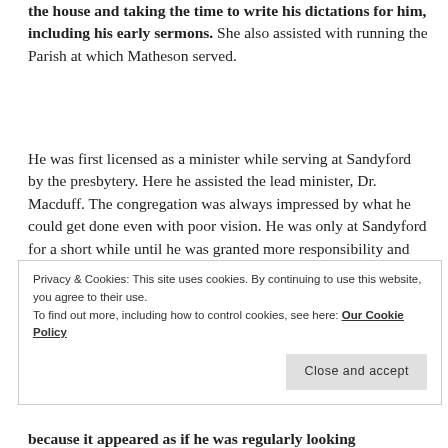the house and taking the time to write his dictations for him, including his early sermons. She also assisted with running the Parish at which Matheson served.
He was first licensed as a minister while serving at Sandyford by the presbytery. Here he assisted the lead minister, Dr. Macduff. The congregation was always impressed by what he could get done even with poor vision. He was only at Sandyford for a short while until he was granted more responsibility and given the opportunity to be the lead minister at Innellan.
In Innellan, Matheson's popularity grew and he was
Privacy & Cookies: This site uses cookies. By continuing to use this website, you agree to their use.
To find out more, including how to control cookies, see here: Our Cookie Policy
Close and accept
because it appeared as if he was regularly looking